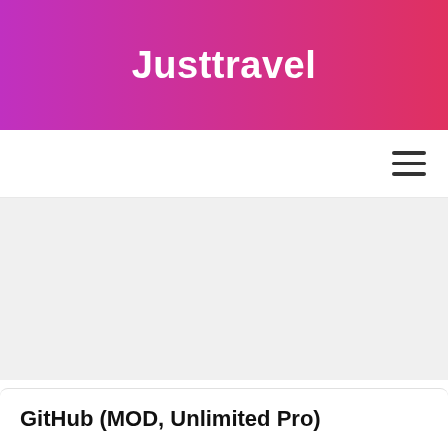Justtravel
[Figure (other): Navigation bar with hamburger menu icon (three horizontal lines) on the right side]
[Figure (other): Large grey content/advertisement area placeholder]
GitHub (MOD, Unlimited Pro)